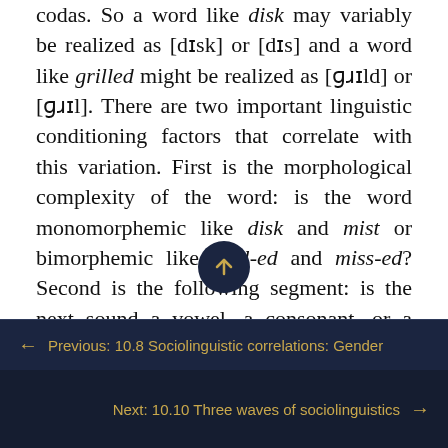codas. So a word like disk may variably be realized as [dɪsk] or [dɪs] and a word like grilled might be realized as [ɡɹɪld] or [ɡɹɪl]. There are two important linguistic conditioning factors that correlate with this variation. First is the morphological complexity of the word: is the word monomorphemic like disk and mist or bimorphemic like grill-ed and miss-ed? Second is the following segment: is the next sound a vowel, a consonant, or a pause? The three varieties spoken in Robeson County differ in terms of how these factors interact and which variant is favoured in specific contexts. For example, Lumbee English patterns with African American English and differs from Anglo-American English in one way: in both Lumbee English
← Previous: 10.8 Sociolinguistic correlations: Gender
Next: 10.10 Three waves of sociolinguistics →